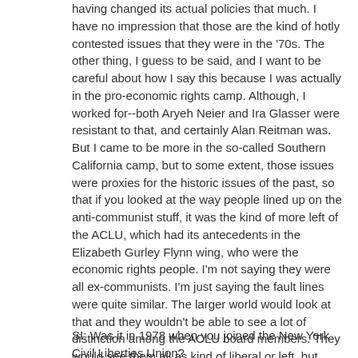having changed its actual policies that much. I have no impression that those are the kind of hotly contested issues that they were in the '70s. The other thing, I guess to be said, and I want to be careful about how I say this because I was actually in the pro-economic rights camp. Although, I worked for--both Aryeh Neier and Ira Glasser were resistant to that, and certainly Alan Reitman was. But I came to be more in the so-called Southern California camp, but to some extent, those issues were proxies for the historic issues of the past, so that if you looked at the way people lined up on the anti-communist stuff, it was the kind of more left of the ACLU, which had its antecedents in the Elizabeth Gurley Flynn wing, who were the economic rights people. I'm not saying they were all ex-communists. I'm just saying the fault lines were quite similar. The larger world would look at that and they wouldn't be able to see a lot of distinction among the ACLU board members. They would see them all as kind of liberal or left, but within the kind of micro-politics of the ACLU, this was the kind of right-left split, the last big right-left split. Then that also manifests itself to some extent on internal governance issues about organizational democracy and then eventually around organizational diversity issues--more about the ACLU and taking steps to do affirmative action within the ACLU, to have a more racially and gender diverse national board and that kind of thing.
SI: Was it in 1978 when you joined the New York Civil Liberties Union?